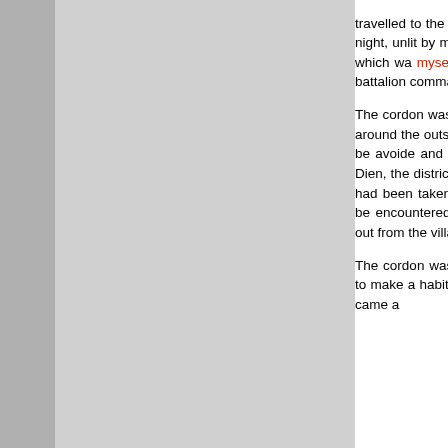travelled to the Dat Do airstrip, lea APC's after 8 p.m. and emerged Vietnamese night, unlit by moonlig the armoured vehicles and tried t final phase of the move which wa myself ever obtained much sleep night when we were not moving in battalion commander's radio. The cordon was placed around A which presented itself was the po booby traps around the outside of devices and they were a serious h location and they could be avoide and fences. An Nhut had been en a belt of mines laid between the Dien, the district headquarters wh that mines had been taken out d that the wire had been taken h supported the fence. However, mine detectors we could not be encountered part of the perimete way around the northern side of A swing out from the village to avoi The cordon was closed at 4 a.m. additional precaution because we had begun to make a habit of le order to avoid being caught by a the 772 Regional Forces, came a